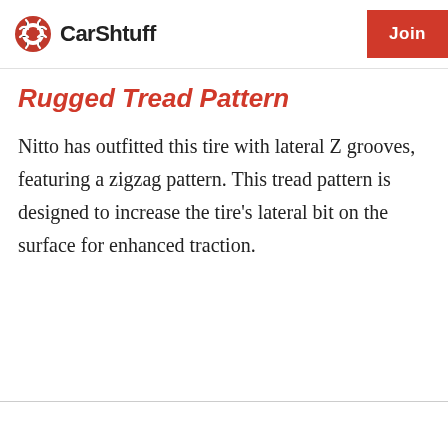CarShtuff | Join
Rugged Tread Pattern
Nitto has outfitted this tire with lateral Z grooves, featuring a zigzag pattern. This tread pattern is designed to increase the tire's lateral bit on the surface for enhanced traction.